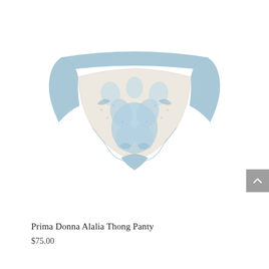[Figure (photo): Light blue lace thong panty with floral lace overlay on the front panel, soft blue solid fabric on the sides. Product photo on white background.]
Prima Donna Alalia Thong Panty
$75.00